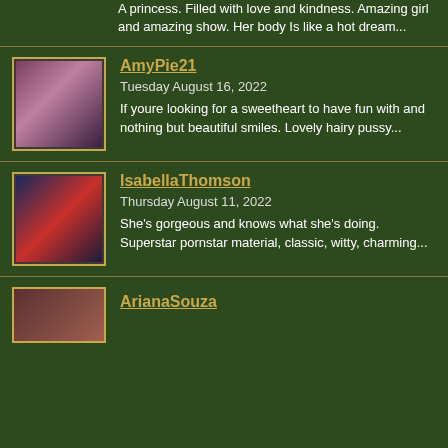A princess. Filled with love and kindness. Amazing girl and amazing show. Her body Is like a hot dream...
AmyPie21
Tuesday August 16, 2022
If youre looking for a sweetheart to have fun with and nothing but beautiful smiles. Lovely hairy pussy...
IsabellaThomson
Thursday August 11, 2022
She's gorgeous and knows what she's doing. Superstar pornstar material, classic, witty, charming...
ArianaSouza